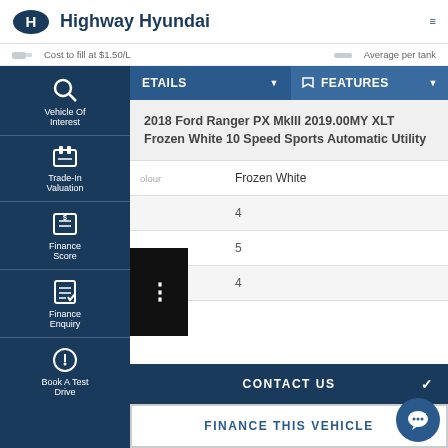Highway Hyundai
Cost to fill at $1.50/L   Average per tank
DETAILS  FEATURES
Vehicle Of Interest
Trade-In Valuation
Finance Score
Finance Enquiry
Book A Test Drive
2018 Ford Ranger PX MkIII 2019.00MY XLT Frozen White 10 Speed Sports Automatic Utility
| Field | Value |
| --- | --- |
| Colour | Frozen White |
|  | 4 |
|  | 5 |
|  | 4 |
CONTACT US
FINANCE THIS VEHICLE